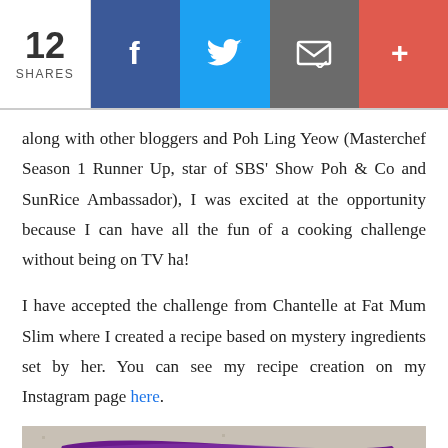12 SHARES | Facebook | Twitter | Email | More
along with other bloggers and Poh Ling Yeow (Masterchef Season 1 Runner Up, star of SBS' Show Poh & Co and SunRice Ambassador), I was excited at the opportunity because I can have all the fun of a cooking challenge without being on TV ha!
I have accepted the challenge from Chantelle at Fat Mum Slim where I created a recipe based on mystery ingredients set by her. You can see my recipe creation on my Instagram page here.
[Figure (photo): Photo of a purple SunRice Creamed Rice product bag on a speckled countertop surface]